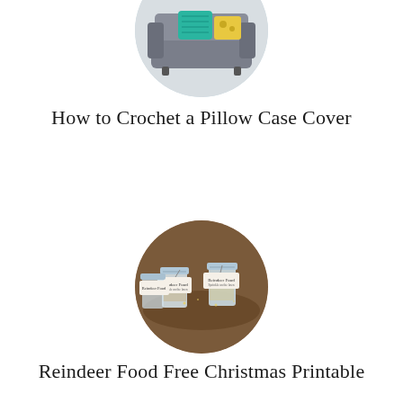[Figure (photo): Circular cropped photo of a gray sofa with a teal/green knitted pillow and yellow patterned cushion]
How to Crochet a Pillow Case Cover
[Figure (photo): Circular cropped photo of mason jars on a wooden table with handwritten label tags reading 'Reindeer Food']
Reindeer Food Free Christmas Printable